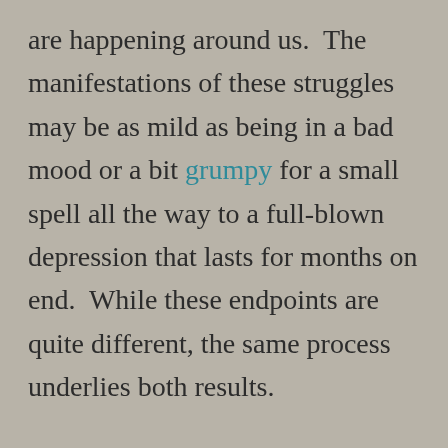are happening around us.  The manifestations of these struggles may be as mild as being in a bad mood or a bit grumpy for a small spell all the way to a full-blown depression that lasts for months on end.  While these endpoints are quite different, the same process underlies both results.

On a surface level, you are likely familiar with what this discusses.  People may have told you to “search for the silver lining”.  Others may have